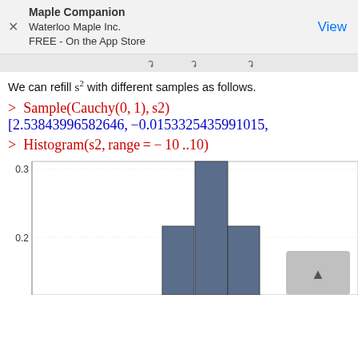Maple Companion
Waterloo Maple Inc.
FREE - On the App Store | View
… … …
We can refill s2 with different samples as follows.
> Sample(Cauchy(0, 1), s2)
[2.53843996582646, −0.0153325435991015,
> Histogram(s2, range = − 10 ..10)
[Figure (histogram): Histogram(s2, range = -10..10)]